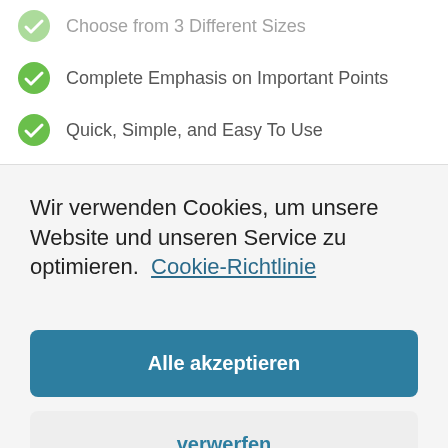Choose from 3 Different Sizes
Complete Emphasis on Important Points
Quick, Simple, and Easy To Use
Wir verwenden Cookies, um unsere Website und unseren Service zu optimieren.  Cookie-Richtlinie
Alle akzeptieren
verwerfen
Vorlieben